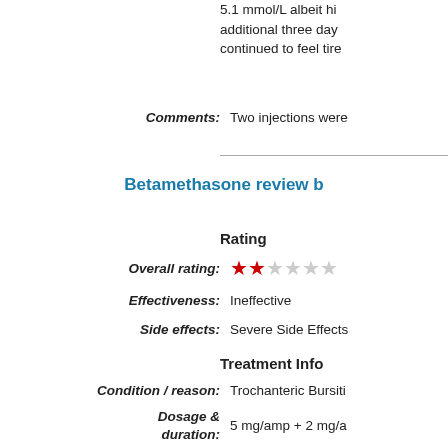5.1 mmol/L albeit hi additional three day continued to feel tire
Comments: Two injections were
Betamethasone review b
Rating
Overall rating: 2 out of 5 stars
Effectiveness: Ineffective
Side effects: Severe Side Effects
Treatment Info
Condition / reason: Trochanteric Bursiti
Dosage & duration: 5 mg/amp + 2 mg/a
Other conditions: none
Other drugs taken: none
Reported Results
Benefits: After the administra however after a peri was administered. T